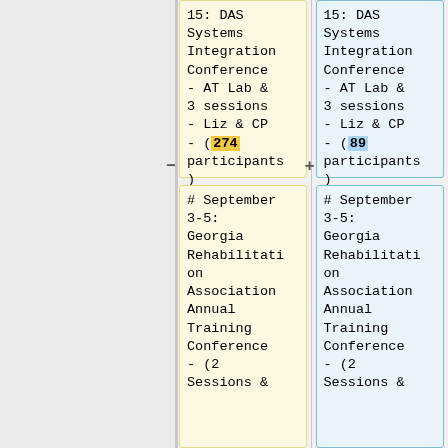| ...August 15: DAS Systems Integration Conference - AT Lab & 3 sessions - Liz & CP - (274 participants) | ...August 15: DAS Systems Integration Conference - AT Lab & 3 sessions - Liz & CP - (89 participants) |
| # September 3-5: Georgia Rehabilitation Association Annual Training Conference - (2 Sessions &... | # September 3-5: Georgia Rehabilitation Association Annual Training Conference - (2 Sessions &... |